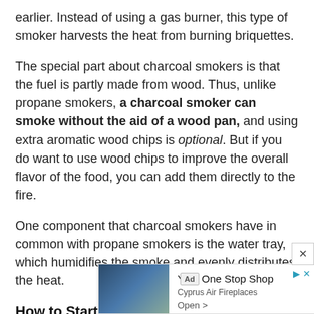earlier. Instead of using a gas burner, this type of smoker harvests the heat from burning briquettes.
The special part about charcoal smokers is that the fuel is partly made from wood. Thus, unlike propane smokers, a charcoal smoker can smoke without the aid of a wood pan, and using extra aromatic wood chips is optional. But if you do want to use wood chips to improve the overall flavor of the food, you can add them directly to the fire.
One component that charcoal smokers have in common with propane smokers is the water tray, which humidifies the smoke and evenly distributes the heat.
How to Start A Charcoal Smoker
Working ... than prepar...
[Figure (other): Advertisement overlay: 'Your One Stop Shop - Cyprus Air Fireplaces - Open' with fireplace image, Ad badge, play and close controls]